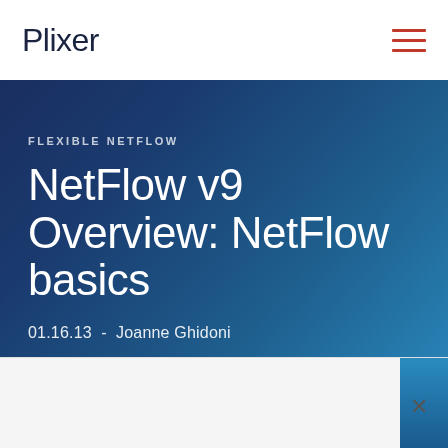Plixer
FLEXIBLE NETFLOW
NetFlow v9 Overview: NetFlow basics
01.16.13 - Joanne Ghidoni